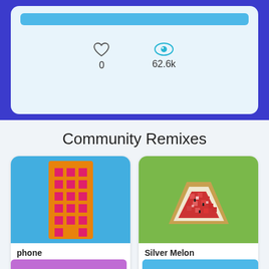[Figure (screenshot): Top card with blue background, light blue inner card, teal top bar, heart icon showing 0 likes and eye icon showing 62.6k views]
Community Remixes
[Figure (illustration): Pixel art phone on blue background - orange rectangle grid with pink squares]
phone
by ...
0  65.1k
[Figure (illustration): Pixel art watermelon slice on green background]
Silver Melon
by lol69pygamer
0  65.4k